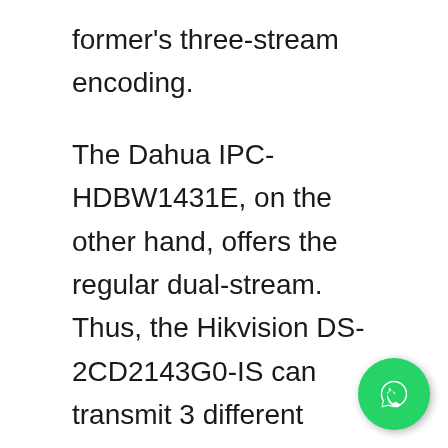former's three-stream encoding.
The Dahua IPC-HDBW1431E, on the other hand, offers the regular dual-stream. Thus, the Hikvision DS-2CD2143G0-IS can transmit 3 different resolutions of streams simultaneously. It also offers a slightly higher bit rate with its 16 Mbps maximum than Dahua's 10 Mbps maximum.
Thus, though you can experience lag-free streaming in both the products, the quality of the video in the Hikvision IP Camera DS-2CD2143G0-IS will be a little better than the
[Figure (illustration): WhatsApp icon button: green circle with white phone handset in speech bubble shape]